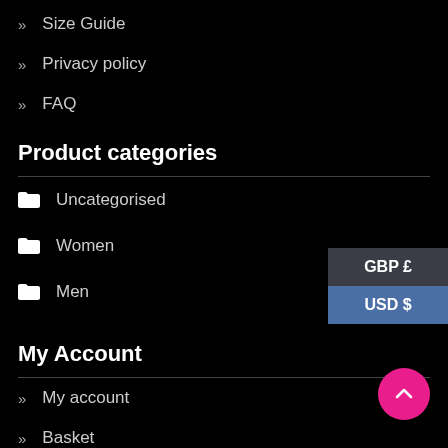» Size Guide
» Privacy policy
» FAQ
Product categories
📁 Uncategorised
📁 Women
📁 Men
My Account
» My account
» Basket
» Checkout